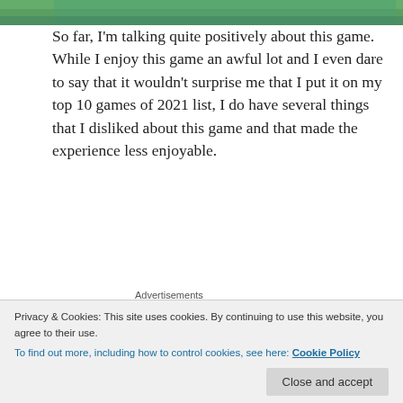[Figure (photo): Top portion of a game screenshot showing green/teal colored scene, partially cropped]
So far, I'm talking quite positively about this game. While I enjoy this game an awful lot and I even dare to say that it wouldn't surprise me that I put it on my top 10 games of 2021 list, I do have several things that I disliked about this game and that made the experience less enjoyable.
Advertisements
[Figure (screenshot): Longreads advertisement banner with black background, red circle logo with 'L', text: LONGREADS, Read anything great lately?]
While I barely experienced any bugs, I did fall three times through the map in similar ways. Once, I was
the game autosave quite often, so I didn't lose too much
Privacy & Cookies: This site uses cookies. By continuing to use this website, you agree to their use.
To find out more, including how to control cookies, see here: Cookie Policy
Close and accept